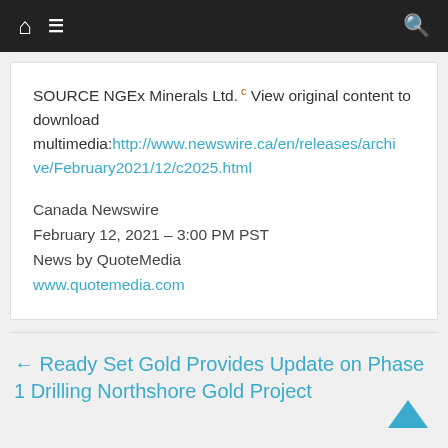Navigation bar with home, menu, and search icons
SOURCE NGEx Minerals Ltd. c View original content to download multimedia:http://www.newswire.ca/en/releases/archive/February2021/12/c2025.html
Canada Newswire
February 12, 2021 – 3:00 PM PST
News by QuoteMedia
www.quotemedia.com
← Ready Set Gold Provides Update on Phase 1 Drilling Northshore Gold Project